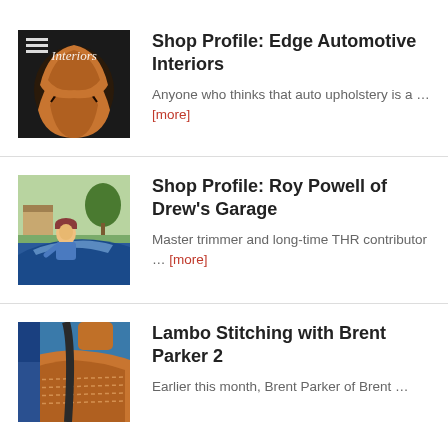[Figure (photo): Custom car seat with orange/brown leather upholstery and black accents, with 'Interiors' text overlay and menu icon]
Shop Profile: Edge Automotive Interiors
Anyone who thinks that auto upholstery is a … [more]
[Figure (photo): Man in blue shirt and cap standing next to a blue classic car outdoors]
Shop Profile: Roy Powell of Drew's Garage
Master trimmer and long-time THR contributor … [more]
[Figure (photo): Interior of a car showing tan/brown leather seats with lambo stitching and blue exterior]
Lambo Stitching with Brent Parker 2
Earlier this month, Brent Parker of Brent …